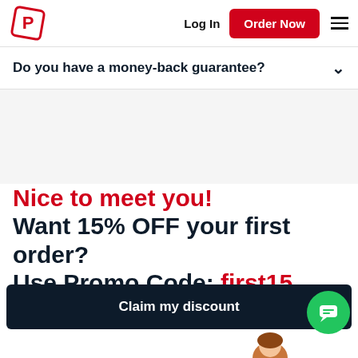[Figure (logo): PaperHelp logo - red rotated square with white P inside]
Log In
Order Now
Do you have a money-back guarantee?
Nice to meet you!
Want 15% OFF your first order?
Use Promo Code: first15
Claim my discount